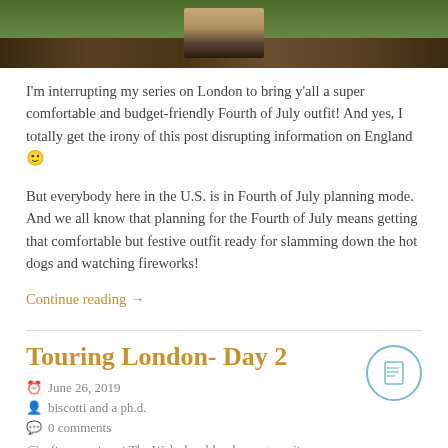[Figure (photo): Top portion of a photo showing a person's feet/lower legs in sandals standing in a garden area with plants and dark mulch/soil]
I'm interrupting my series on London to bring y'all a super comfortable and budget-friendly Fourth of July outfit! And yes, I totally get the irony of this post disrupting information on England 🙂
But everybody here in the U.S. is in Fourth of July planning mode. And we all know that planning for the Fourth of July means getting that comfortable but festive outfit ready for slamming down the hot dogs and watching fireworks!
Continue reading →
Touring London- Day 2
June 26, 2019
biscotti and a ph.d.
0 comments
afternoon tea at The Wolseley, blood orange spritz,